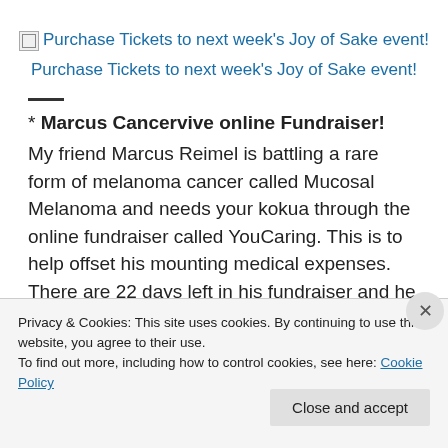[Figure (other): Broken image icon followed by link text: Purchase Tickets to next week's Joy of Sake event!]
Purchase Tickets to next week's Joy of Sake event!
—
* Marcus Cancervive online Fundraiser!
My friend Marcus Reimel is battling a rare form of melanoma cancer called Mucosal Melanoma and needs your kokua through the online fundraiser called YouCaring. This is to help offset his mounting medical expenses. There are 22 days left in his fundraiser and he is almost
Privacy & Cookies: This site uses cookies. By continuing to use this website, you agree to their use.
To find out more, including how to control cookies, see here: Cookie Policy
Close and accept